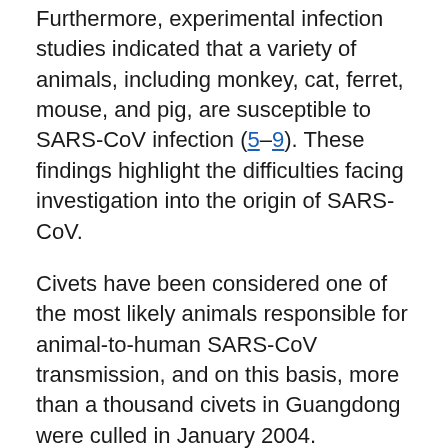Furthermore, experimental infection studies indicated that a variety of animals, including monkey, cat, ferret, mouse, and pig, are susceptible to SARS-CoV infection (5–9). These findings highlight the difficulties facing investigation into the origin of SARS-CoV.
Civets have been considered one of the most likely animals responsible for animal-to-human SARS-CoV transmission, and on this basis, more than a thousand civets in Guangdong were culled in January 2004. However, no conclusive evidence suggests that civets are the natural reservoir host of SARS-CoV or that civets in their natural habitat are infected with SARS-CoV. Lack of access to wild civets and regulatory issues involved make conducting detailed field studies of wild civets difficult, if not impossible, for the foreseeable future. Since most civets in markets